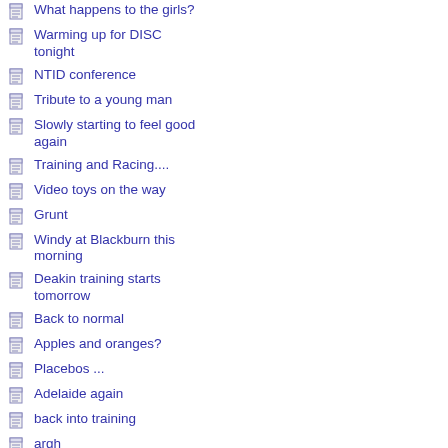What happens to the girls?
Warming up for DISC tonight
NTID conference
Tribute to a young man
Slowly starting to feel good again
Training and Racing....
Video toys on the way
Grunt
Windy at Blackburn this morning
Deakin training starts tomorrow
Back to normal
Apples and oranges?
Placebos ...
Adelaide again
back into training
argh
The interferance effect
A new page opens
Details for Spin 2012